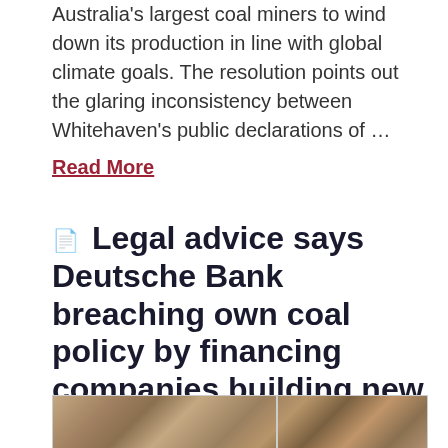Australia's largest coal miners to wind down its production in line with global climate goals. The resolution points out the glaring inconsistency between Whitehaven's public declarations of …
Read More
Legal advice says Deutsche Bank breaching own coal policy by financing companies building new coal mines
[Figure (photo): Aerial/satellite photograph of a landscape showing what appears to be an open-cut coal mine or mining area, split into two panels side by side.]